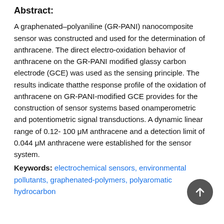Abstract:
A graphenated–polyaniline (GR-PANI) nanocomposite sensor was constructed and used for the determination of anthracene. The direct electro-oxidation behavior of anthracene on the GR-PANI modified glassy carbon electrode (GCE) was used as the sensing principle. The results indicate thatthe response profile of the oxidation of anthracene on GR-PANI-modified GCE provides for the construction of sensor systems based onamperometric and potentiometric signal transductions. A dynamic linear range of 0.12- 100 μM anthracene and a detection limit of 0.044 μM anthracene were established for the sensor system.
Keywords: electrochemical sensors, environmental pollutants, graphenated-polymers, polyaromatic hydrocarbon